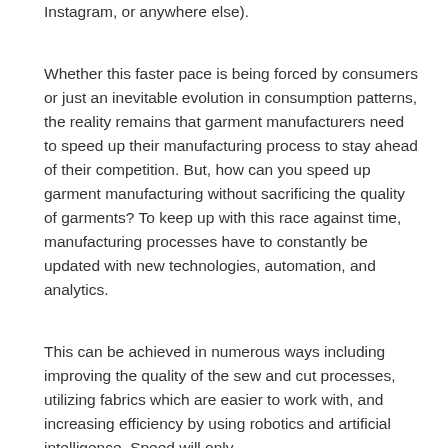Instagram, or anywhere else).
Whether this faster pace is being forced by consumers or just an inevitable evolution in consumption patterns, the reality remains that garment manufacturers need to speed up their manufacturing process to stay ahead of their competition. But, how can you speed up garment manufacturing without sacrificing the quality of garments? To keep up with this race against time, manufacturing processes have to constantly be updated with new technologies, automation, and analytics.
This can be achieved in numerous ways including improving the quality of the sew and cut processes, utilizing fabrics which are easier to work with, and increasing efficiency by using robotics and artificial intelligence. Speed will only